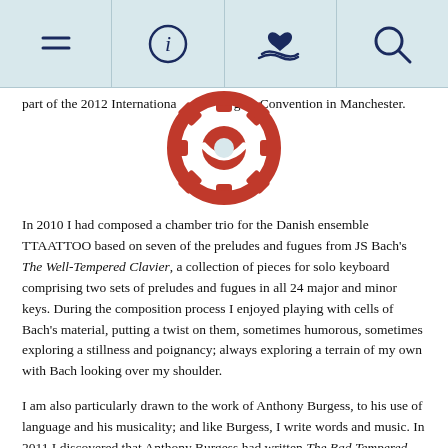[Navigation bar with menu, info, donate, and search icons]
[Figure (logo): Red gear/cog logo icon centered at top of content area]
part of the 2012 International Delegate Convention in Manchester.
In 2010 I had composed a chamber trio for the Danish ensemble TTAATTOO based on seven of the preludes and fugues from JS Bach's The Well-Tempered Clavier, a collection of pieces for solo keyboard comprising two sets of preludes and fugues in all 24 major and minor keys.  During the composition process I enjoyed playing with cells of Bach's material, putting a twist on them, sometimes humorous, sometimes exploring a stillness and poignancy;  always exploring a terrain of my own with Bach looking over my shoulder.
I am also particularly drawn to the work of Anthony Burgess, to his use of language and his musicality; and like Burgess, I write words and music. In 2011 I discovered that Anthony Burgess had written The Bad Tempered Electronic Keyboard (1986), also a collection of 24 preludes and fugues for piano. The International Anthony Burgess Foundation very kindly gave me access to Burgess's original score – and a chance to view the instrument the work was composed on – and I began to familiarise myself with the preludes and fugues, playing and listening to them closely.  I decided to compose my new work for the Linda and